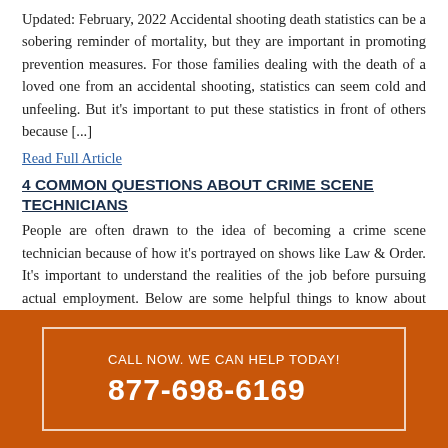Updated: February, 2022 Accidental shooting death statistics can be a sobering reminder of mortality, but they are important in promoting prevention measures. For those families dealing with the death of a loved one from an accidental shooting, statistics can seem cold and unfeeling. But it's important to put these statistics in front of others because [...]
Read Full Article
4 COMMON QUESTIONS ABOUT CRIME SCENE TECHNICIANS
People are often drawn to the idea of becoming a crime scene technician because of how it's portrayed on shows like Law & Order. It's important to understand the realities of the job before pursuing actual employment. Below are some helpful things to know about this type of career. What is a Crime Scene Technician?  [...]
CALL NOW. WE CAN HELP TODAY! 877-698-6169